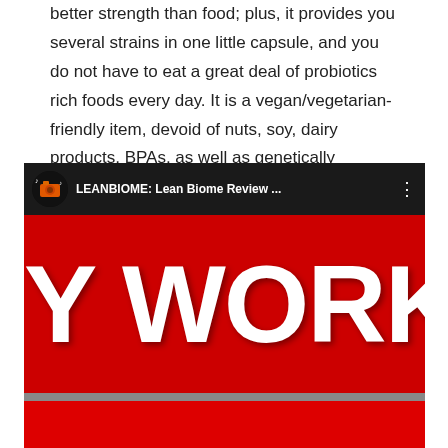better strength than food; plus, it provides you several strains in one little capsule, and you do not have to eat a great deal of probiotics rich foods every day. It is a vegan/vegetarian-friendly item, devoid of nuts, soy, dairy products, BPAs, as well as genetically customized active ingredients.
[Figure (screenshot): YouTube video thumbnail screenshot showing 'LEANBIOME: Lean Biome Review ...' with large white text 'Y WORK?' on red background in upper portion and 'T ALERT!' on red background in lower portion]